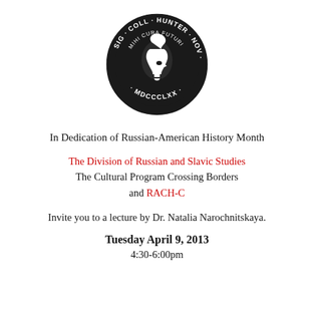[Figure (logo): Hunter College seal: circular black medallion with a Roman warrior profile in white, surrounded by text 'SIG · COLL · HUNTER · NOV · EBOR · MDCCCLXX' and inner text 'MIHI CURA FUTURI']
In Dedication of Russian-American History Month
The Division of Russian and Slavic Studies
The Cultural Program Crossing Borders
and RACH-C
Invite you to a lecture by Dr. Natalia Narochnitskaya.
Tuesday April 9, 2013
4:30-6:00pm